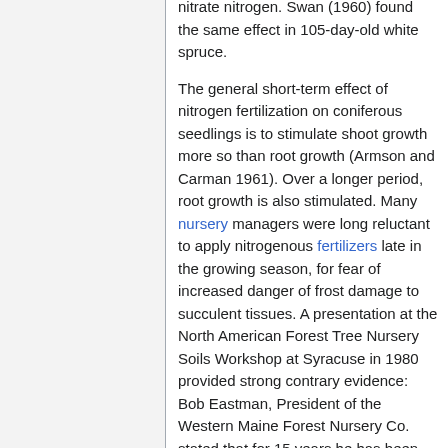nitrate nitrogen. Swan (1960) found the same effect in 105-day-old white spruce.
The general short-term effect of nitrogen fertilization on coniferous seedlings is to stimulate shoot growth more so than root growth (Armson and Carman 1961). Over a longer period, root growth is also stimulated. Many nursery managers were long reluctant to apply nitrogenous fertilizers late in the growing season, for fear of increased danger of frost damage to succulent tissues. A presentation at the North American Forest Tree Nursery Soils Workshop at Syracuse in 1980 provided strong contrary evidence: Bob Eastman, President of the Western Maine Forest Nursery Co. stated that for 15 years he has been successful in avoiding winter “burn” to Norway spruce and white spruce in his nursery.